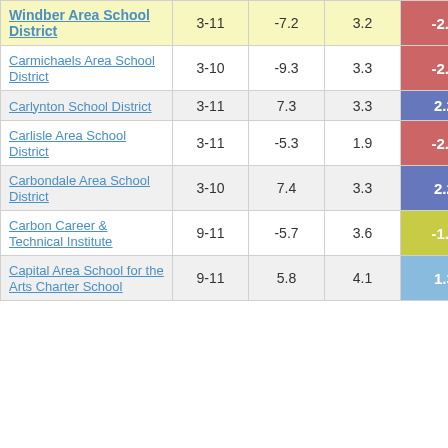| School District | Grades | Col3 | Col4 | Score | Col6 |
| --- | --- | --- | --- | --- | --- |
| Windber Area School District | 3-11 | -7.2 | 3.2 | -2.24 | 5 |
| Carmichaels Area School District | 3-10 | -9.3 | 3.3 | -2.81 |  |
| Carlynton School District | 3-11 | 7.3 | 3.3 | 2.22 |  |
| Carlisle Area School District | 3-11 | -5.3 | 1.9 | -2.81 |  |
| Carbondale Area School District | 3-10 | 7.4 | 3.3 | 2.25 |  |
| Carbon Career & Technical Institute | 9-11 | -5.7 | 3.6 | -1.59 |  |
| Capital Area School for the Arts Charter School | 9-11 | 5.8 | 4.1 | 1.39 |  |